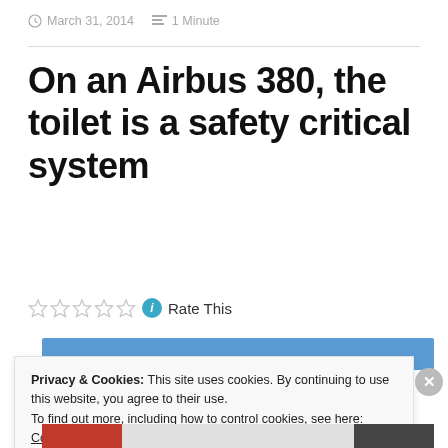March 31, 2014  1 Minute
On an Airbus 380, the toilet is a safety critical system
Rate This
Privacy & Cookies: This site uses cookies. By continuing to use this website, you agree to their use.
To find out more, including how to control cookies, see here: Cookie Policy
Close and accept